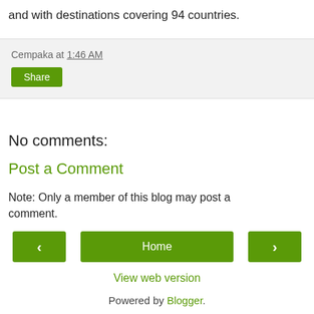and with destinations covering 94 countries.
Cempaka at 1:46 AM
Share
No comments:
Post a Comment
Note: Only a member of this blog may post a comment.
‹
Home
›
View web version
Powered by Blogger.